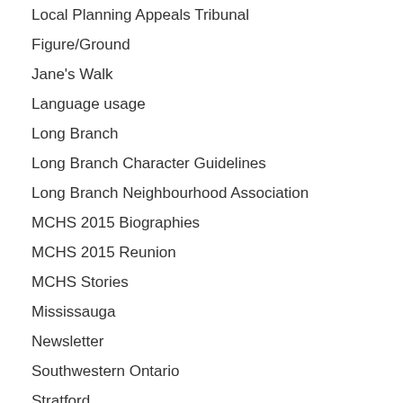Local Planning Appeals Tribunal
Figure/Ground
Jane's Walk
Language usage
Long Branch
Long Branch Character Guidelines
Long Branch Neighbourhood Association
MCHS 2015 Biographies
MCHS 2015 Reunion
MCHS Stories
Mississauga
Newsletter
Southwestern Ontario
Stratford
Toronto
Uncategorized
Archive